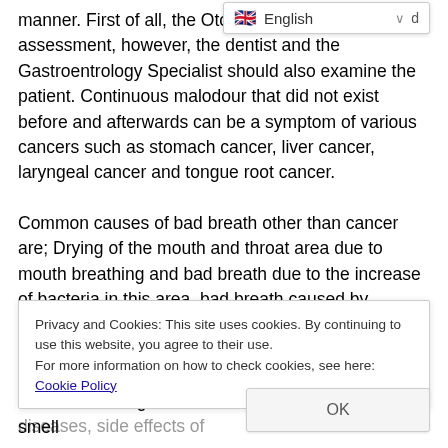manner. First of all, the Otorhinolaryngologist should make an assessment, however, the dentist and the Gastroentrology Specialist should also examine the patient. Continuous malodour that did not exist before and afterwards can be a symptom of various cancers such as stomach cancer, liver cancer, laryngeal cancer and tongue root cancer.
Common causes of bad breath other than cancer are; Drying of the mouth and throat area due to mouth breathing and bad breath due to the increase of bacteria in this area, bad breath caused by bacteria accumulating in the tongue root, problems related to teeth and gums, intense nasal discharge, throat infections, stone formation in the tonsils, alcohol Smoking-tobacco use, diabetes and kidney diseases, side effects of
Privacy and Cookies: This site uses cookies. By continuing to use this website, you agree to their use.
For more information on how to check cookies, see here: Cookie Policy
OK
be done for this. It should be investigated where the smell